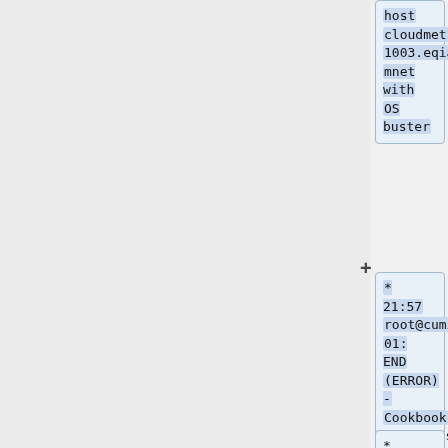host cloudmetrics1003.eqiad.wmnet with OS buster
* 21:57 root@cumin1001: END (ERROR) - Cookbook sre.hosts.reimage (exit_code=93) for host cloudmetrics1003.eqiad.wmnet with OS bullseye
* 21:18 root@cumin1001: START...